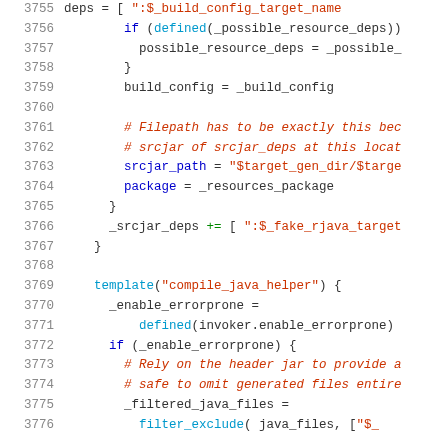[Figure (screenshot): Code listing showing lines 3755-3776 of a build configuration script with syntax highlighting. Lines include variable assignments, conditionals, template calls, and comments in blue, green, red, and dark colors on white background.]